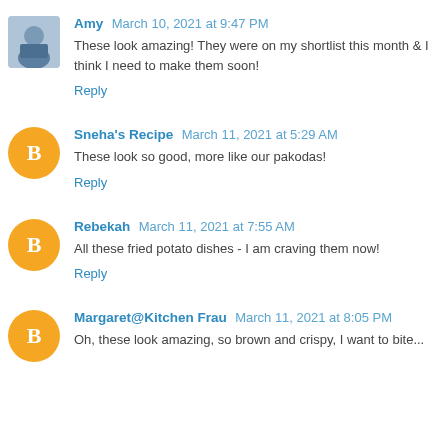Amy March 10, 2021 at 9:47 PM
These look amazing! They were on my shortlist this month & I think I need to make them soon!
Reply
Sneha's Recipe March 11, 2021 at 5:29 AM
These look so good, more like our pakodas!
Reply
Rebekah March 11, 2021 at 7:55 AM
All these fried potato dishes - I am craving them now!
Reply
Margaret@Kitchen Frau March 11, 2021 at 8:05 PM
Oh, these look amazing, so brown and crispy, I want to bite...